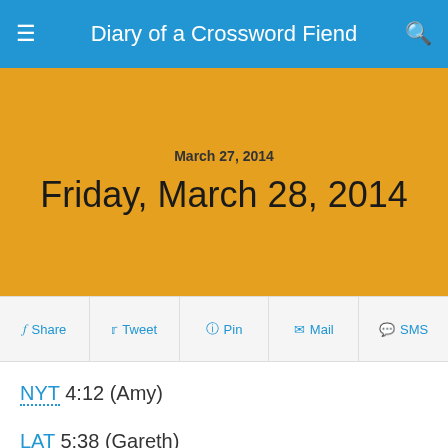Diary of a Crossword Fiend
Friday, March 28, 2014
March 27, 2014
Share  Tweet  Pin  Mail  SMS
NYT 4:12 (Amy)
LAT 5:38 (Gareth)
CS 6:01 (Dave)